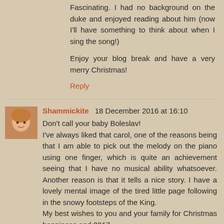Fascinating. I had no background on the duke and enjoyed reading about him (now I'll have something to think about when I sing the song!)
Enjoy your blog break and have a very merry Christmas!
Reply
Shammickite  18 December 2016 at 16:10
Don't call your baby Boleslav!
I've always liked that carol, one of the reasons being that I am able to pick out the melody on the piano using one finger, which is quite an achievement seeing that I have no musical ability whatsoever. Another reason is that it tells a nice story. I have a lovely mental image of the tired little page following in the snowy footsteps of the King.
My best wishes to you and your family for Christmas happiness and 2017.
Reply
Liz A.  18 December 2016 at 20:41